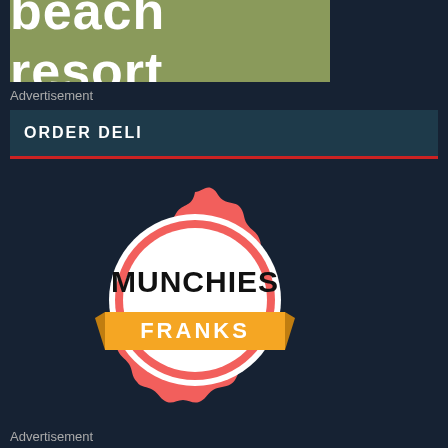[Figure (screenshot): App screenshot showing a beach resort banner advertisement at the top, then an ORDER DELI section header with a red underline, followed by a Munchies Franks logo — a coral/red scalloped badge with a white circle, bold black text MUNCHIES, and an orange banner with white text FRANKS. At the bottom is another Advertisement label.]
Advertisement
ORDER DELI
[Figure (logo): Munchies Franks logo: coral-red scalloped circular badge with white inner circle, MUNCHIES in bold black text, FRANKS in white text on an orange ribbon banner across the middle.]
Advertisement